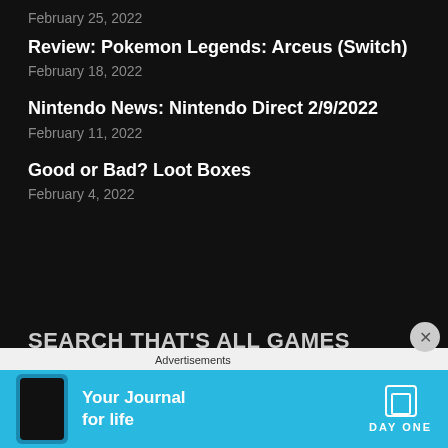February 25, 2022
Review: Pokemon Legends: Arceus (Switch)
February 18, 2022
Nintendo News: Nintendo Direct 2/9/2022
February 11, 2022
Good or Bad? Loot Boxes
February 4, 2022
SEARCH THAT'S ALL GAMES
[Figure (screenshot): Search input box with magnifying glass icon and placeholder text 'Search ...']
[Figure (screenshot): Advertisement banner for Day One app — 'Your Journal for life' on a cyan/blue background with phone mockup and Day One logo]